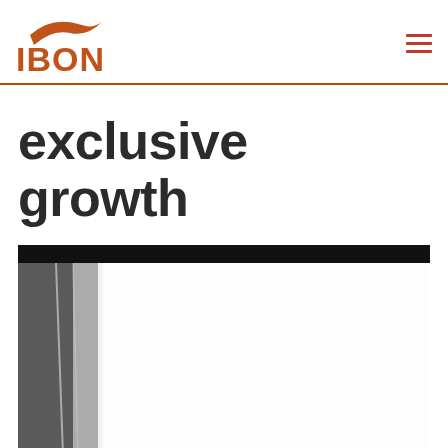IBON
exclusive growth
[Figure (photo): A dark image with a black top bar, showing what appears to be a partially visible figure or silhouette against a light background.]